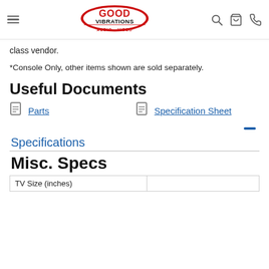Good Vibrations Audio Video - navigation header
class vendor.
*Console Only, other items shown are sold separately.
Useful Documents
Parts
Specification Sheet
Specifications
Misc. Specs
| TV Size (inches) |  |
| --- | --- |